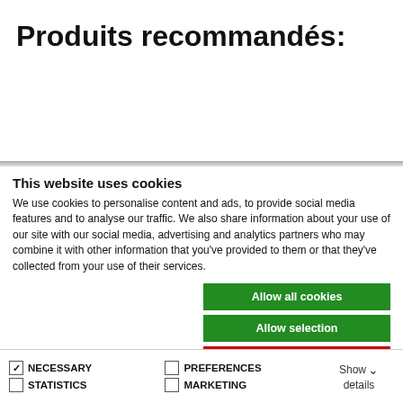Produits recommandés:
This website uses cookies
We use cookies to personalise content and ads, to provide social media features and to analyse our traffic. We also share information about your use of our site with our social media, advertising and analytics partners who may combine it with other information that you've provided to them or that they've collected from your use of their services.
Allow all cookies
Allow selection
Use necessary cookies only
NECESSARY  PREFERENCES  STATISTICS  MARKETING  Show details